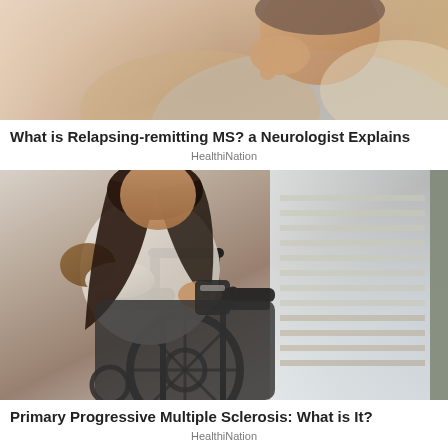[Figure (photo): Close-up photo of a person with their hand near their face, suggesting distress or contemplation, related to MS topic]
What is Relapsing-remitting MS? a Neurologist Explains
HealthiNation
[Figure (photo): Woman in a wheelchair holding a mug, sitting near a window with blinds, representing Primary Progressive Multiple Sclerosis]
Primary Progressive Multiple Sclerosis: What is It?
HealthiNation